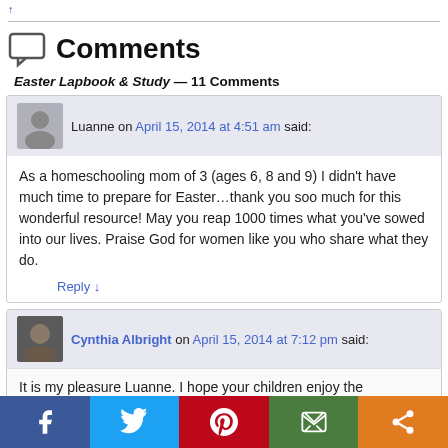Comments
Easter Lapbook & Study — 11 Comments
Luanne on April 15, 2014 at 4:51 am said:
As a homeschooling mom of 3 (ages 6, 8 and 9) I didn't have much time to prepare for Easter…thank you soo much for this wonderful resource! May you reap 1000 times what you've sowed into our lives. Praise God for women like you who share what they do.
Reply ↓
Cynthia Albright on April 15, 2014 at 7:12 pm said:
It is my pleasure Luanne. I hope your children enjoy the
Facebook Twitter Pinterest Email Share